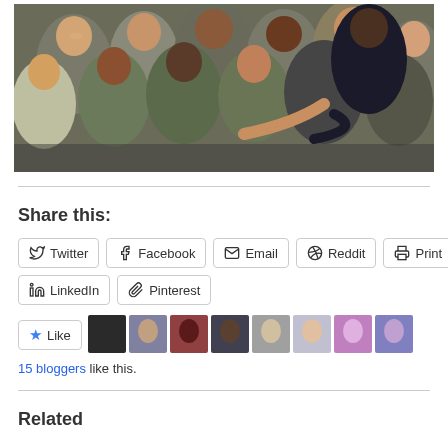[Figure (photo): A person in a dark suit greeting and shaking hands with multiple military personnel in camouflage uniforms in what appears to be a large indoor venue.]
Share this:
Twitter | Facebook | Email | Reddit | Print | LinkedIn | Pinterest
Like
15 bloggers like this.
Related